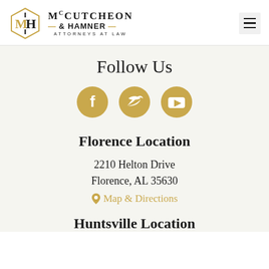[Figure (logo): McCutcheon & Hamner Attorneys at Law logo with hexagonal MH emblem]
Follow Us
[Figure (infographic): Three golden circular social media icons: Facebook, Twitter, YouTube]
Florence Location
2210 Helton Drive
Florence, AL 35630
Map & Directions
Huntsville Location